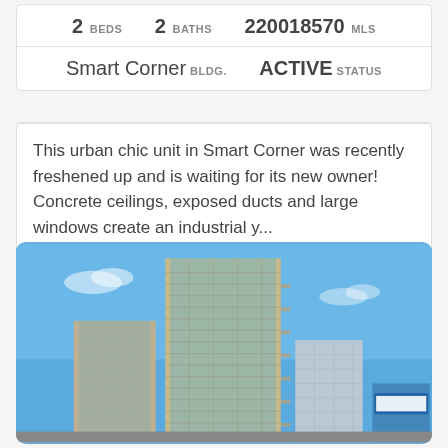2 BEDS  2 BATHS  220018570 MLS
Smart Corner BLDG.  ACTIVE STATUS
This urban chic unit in Smart Corner was recently freshened up and is waiting for its new owner! Concrete ceilings, exposed ducts and large windows create an industrial y...
[Figure (photo): Exterior photo of Smart Corner high-rise condominium building with glass facade against blue sky]